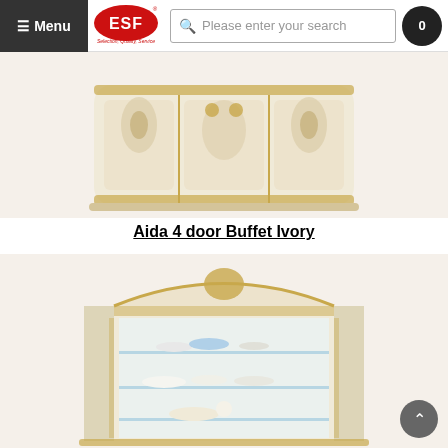Menu | ESF - Selection, Quality, Service | Please enter your search | 0
[Figure (photo): Ornate ivory and gold buffet cabinet with decorative carved panels and Greek key border pattern, shown from above at an angle.]
Aida 4 door Buffet Ivory
[Figure (photo): Elegant ivory and gold display cabinet with glass doors and shelves containing fine china dishes and decorative items, with arched decorative pediment on top.]